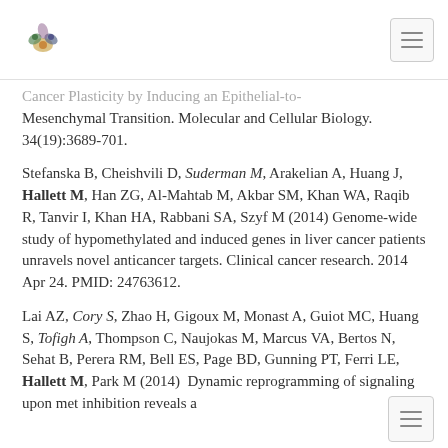[logo and navigation menu]
Cancer Plasticity by Inducing an Epithelial-to-Mesenchymal Transition. Molecular and Cellular Biology. 34(19):3689-701.
Stefanska B, Cheishvili D, Suderman M, Arakelian A, Huang J, Hallett M, Han ZG, Al-Mahtab M, Akbar SM, Khan WA, Raqib R, Tanvir I, Khan HA, Rabbani SA, Szyf M (2014) Genome-wide study of hypomethylated and induced genes in liver cancer patients unravels novel anticancer targets. Clinical cancer research. 2014 Apr 24. PMID: 24763612.
Lai AZ, Cory S, Zhao H, Gigoux M, Monast A, Guiot MC, Huang S, Tofigh A, Thompson C, Naujokas M, Marcus VA, Bertos N, Sehat B, Perera RM, Bell ES, Page BD, Gunning PT, Ferri LE, Hallett M, Park M (2014)  Dynamic reprogramming of signaling upon met inhibition reveals a
[navigation menu footer]